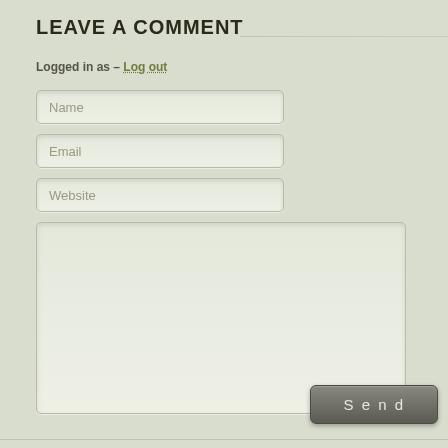LEAVE A COMMENT
Logged in as – Log out
[Figure (screenshot): Comment form with Name, Email, Website input fields and a large textarea, plus a Send button]